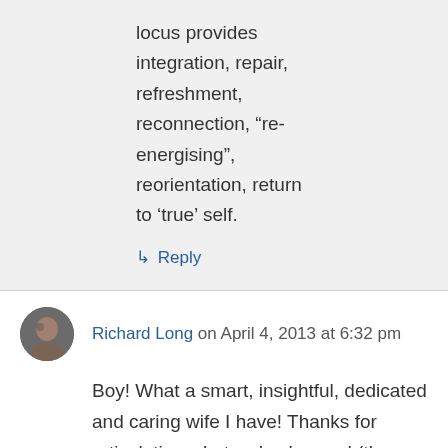locus provides integration, repair, refreshment, reconnection, “re-energising”, reorientation, return to ‘true’ self.
↳ Reply
Richard Long on April 4, 2013 at 6:32 pm
Boy! What a smart, insightful, dedicated and caring wife I have! Thanks for articulating what we’ve learned (the “we’ve” refers mostly to what I’ve learned as a result of what you’ve learned)